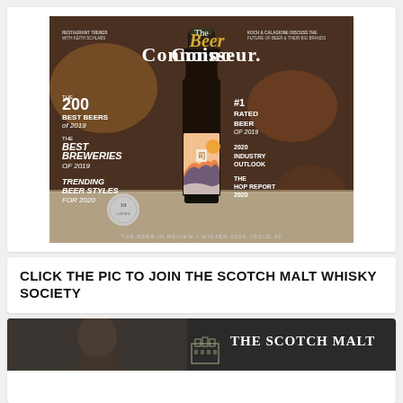[Figure (photo): Magazine cover of 'The Beer Connoisseur' — The Beer in Review, Winter 2020, Issue 46. Features a dark beer bottle with colorful label against a dark background. Text on cover includes: THE 200 BEST BEERS of 2019, #1 RATED BEER OF 2019, THE BEST BREWERIES OF 2019, 2020 INDUSTRY OUTLOOK, TRENDING BEER STYLES FOR 2020, THE HOP REPORT 2020, RESTAURANT TRENDS WITH KEITH SCHLABS, KOCH & CALAGIONE DISCUSS THE FUTURE OF BEER & THEIR BIG BRANDS. Bottom text: THE BEER IN REVIEW • WINTER 2020, ISSUE 46.]
CLICK THE PIC TO JOIN THE SCOTCH MALT WHISKY SOCIETY
[Figure (photo): Partial view of a person with 'THE SCOTCH MALT' text visible on the right side over a dark banner with building/castle icon]